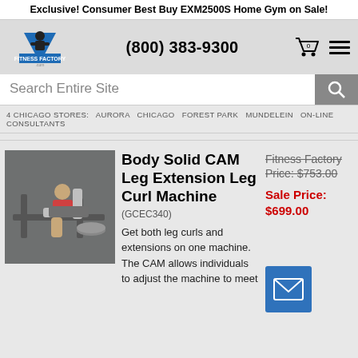Exclusive! Consumer Best Buy EXM2500S Home Gym on Sale!
[Figure (logo): Fitness Factory .com logo with muscular figure and blue triangle]
(800) 383-9300
Search Entire Site
4 CHICAGO STORES:   AURORA   CHICAGO   FOREST PARK   MUNDELEIN   ON-LINE CONSULTANTS
[Figure (photo): Person using Body Solid CAM Leg Extension Leg Curl Machine in gym setting]
Body Solid CAM Leg Extension Leg Curl Machine
(GCEC340)
Fitness Factory Price: $753.00
Sale Price: $699.00
Get both leg curls and extensions on one machine. The CAM allows individuals to adjust the machine to meet